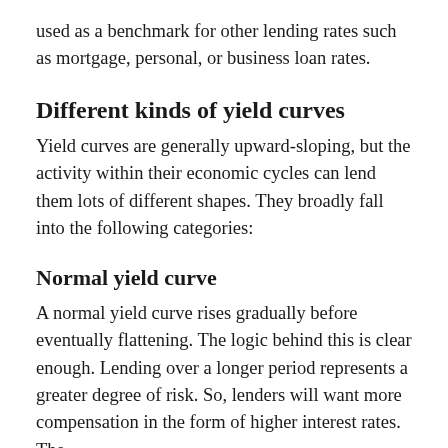used as a benchmark for other lending rates such as mortgage, personal, or business loan rates.
Different kinds of yield curves
Yield curves are generally upward-sloping, but the activity within their economic cycles can lend them lots of different shapes. They broadly fall into the following categories:
Normal yield curve
A normal yield curve rises gradually before eventually flattening. The logic behind this is clear enough. Lending over a longer period represents a greater degree of risk. So, lenders will want more compensation in the form of higher interest rates. The